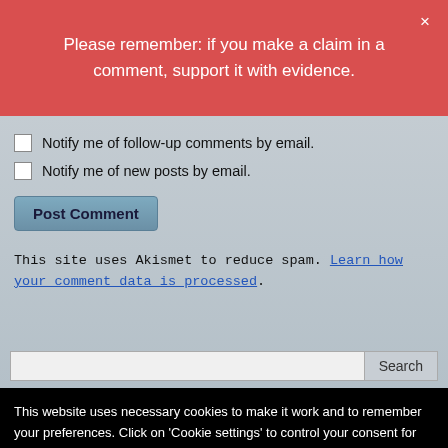Please remember: if you make a claim in a comment, support it with evidence.
Notify me of follow-up comments by email.
Notify me of new posts by email.
Post Comment
This site uses Akismet to reduce spam. Learn how your comment data is processed.
Search
This website uses necessary cookies to make it work and to remember your preferences. Click on 'Cookie settings' to control your consent for other cookies or click on 'Accept all' to consent to the use of all cookies. By continuing to browse this website you are agreeing to our Privacy policy.
Accept all
Cookie settings
Privacy policy